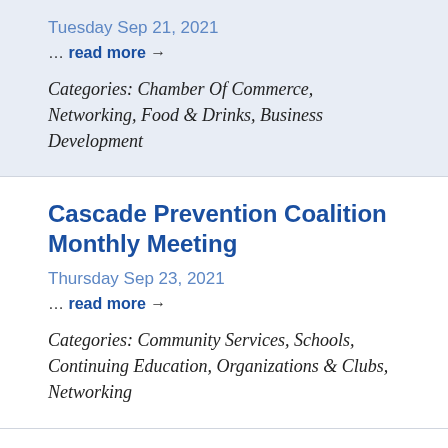Tuesday Sep 21, 2021
… read more →
Categories: Chamber Of Commerce, Networking, Food & Drinks, Business Development
Cascade Prevention Coalition Monthly Meeting
Thursday Sep 23, 2021
… read more →
Categories: Community Services, Schools, Continuing Education, Organizations & Clubs, Networking
Order at Kittitas Cafe and Support